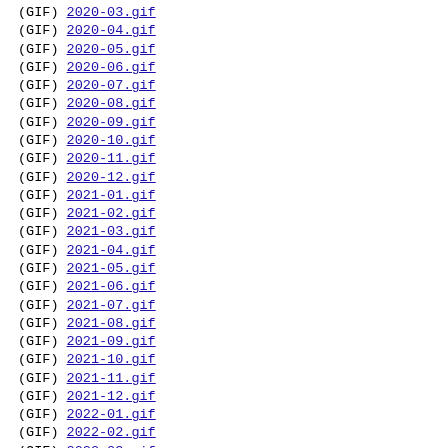(GIF) 2020-03.gif
(GIF) 2020-04.gif
(GIF) 2020-05.gif
(GIF) 2020-06.gif
(GIF) 2020-07.gif
(GIF) 2020-08.gif
(GIF) 2020-09.gif
(GIF) 2020-10.gif
(GIF) 2020-11.gif
(GIF) 2020-12.gif
(GIF) 2021-01.gif
(GIF) 2021-02.gif
(GIF) 2021-03.gif
(GIF) 2021-04.gif
(GIF) 2021-05.gif
(GIF) 2021-06.gif
(GIF) 2021-07.gif
(GIF) 2021-08.gif
(GIF) 2021-09.gif
(GIF) 2021-10.gif
(GIF) 2021-11.gif
(GIF) 2021-12.gif
(GIF) 2022-01.gif
(GIF) 2022-02.gif
(GIF) 2022-03.gif
(GIF) 2022-04.gif
(GIF) 2022-05.gif
(GIF) 2022-06.gif
(GIF) 2022-07.gif